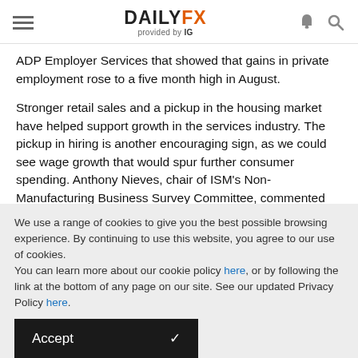DAILYFX provided by IG
ADP Employer Services that showed that gains in private employment rose to a five month high in August.
Stronger retail sales and a pickup in the housing market have helped support growth in the services industry. The pickup in hiring is another encouraging sign, as we could see wage growth that would spur further consumer spending. Anthony Nieves, chair of ISM's Non-Manufacturing Business Survey Committee, commented that the increase in hiring reflects steady growth in services
We use a range of cookies to give you the best possible browsing experience. By continuing to use this website, you agree to our use of cookies.
You can learn more about our cookie policy here, or by following the link at the bottom of any page on our site. See our updated Privacy Policy here.
Accept